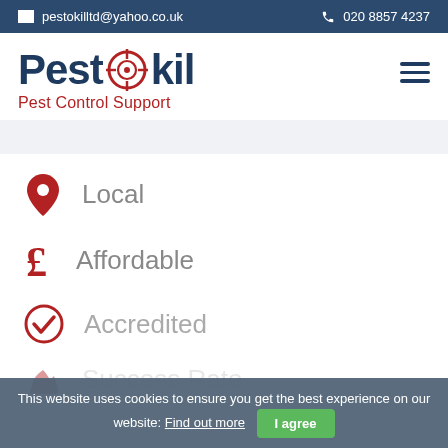pestokilltd@yahoo.co.uk  020 8857 4237
[Figure (logo): Pestokil logo with crosshair on the 'o', tagline 'Pest Control Support']
Local
Affordable
Accredited
Success Rate
This website uses cookies to ensure you get the best experience on our website: Find out more  I agree